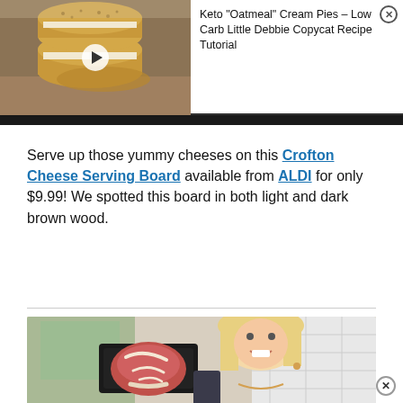[Figure (screenshot): Video thumbnail showing keto oatmeal cream pie cookies on a plate, with a play button overlay and video title 'Keto "Oatmeal" Cream Pies - Low Carb Little Debbie Copycat Recipe Tutorial' and a close (X) button]
Serve up those yummy cheeses on this Crofton Cheese Serving Board available from ALDI for only $9.99! We spotted this board in both light and dark brown wood.
[Figure (photo): A smiling blonde woman holding up a raw ribeye steak on a tray in a kitchen setting]